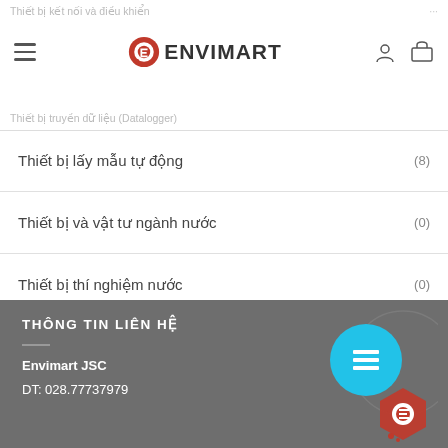Thiết bị kết nối và điều khiển | Thiết bị truyền dữ liệu (Datalogger)
Thiết bị lấy mẫu tự động (8)
Thiết bị và vật tư ngành nước (0)
Thiết bị thí nghiệm nước (0)
Dung dịch chuẩn (204)
Thiết bị đo ngành khí (0)
Tổng hợp (0)
THÔNG TIN LIÊN HỆ
Envimart JSC
DT: 028.77737979